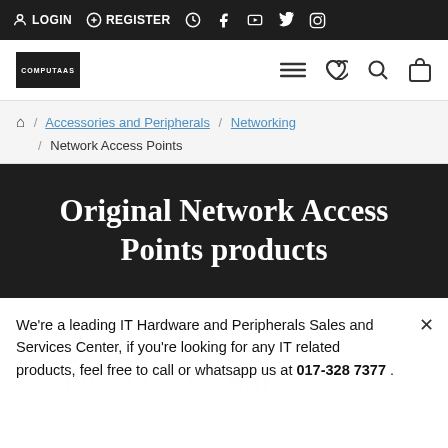LOGIN  REGISTER  [clock] [facebook] [youtube] [twitter] [instagram]
[Figure (logo): Computaas logo in white text on dark background, with hamburger menu, heart, search, and bag icons]
🏠 / Accessories and Peripherals / Networking / Network Access Points
Original Network Access Points products
We're a leading IT Hardware and Peripherals Sales and Services Center, if you're looking for any IT related products, feel free to call or whatsapp us at 017-328 7377 .